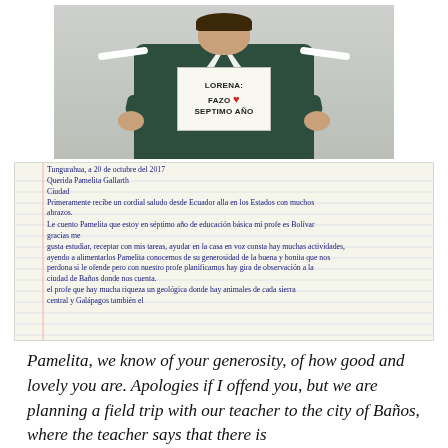[Figure (photo): A student in a green school sweater holding a handwritten sign that reads 'LORENA FAZO SEPTIMO ANO' with a heart drawn on it]
[Figure (photo): A handwritten letter in Spanish on grid/lined paper. The letter is addressed from Tungurahua dated October 20, 2017, to 'Querida Pamelita Gallarth', mentioning being in seventh year of basic education and asking about a field trip to the city of Baños.]
Pamelita, we know of your generosity, of how good and lovely you are. Apologies if I offend you, but we are planning a field trip with our teacher to the city of Baños, where the teacher says that there is